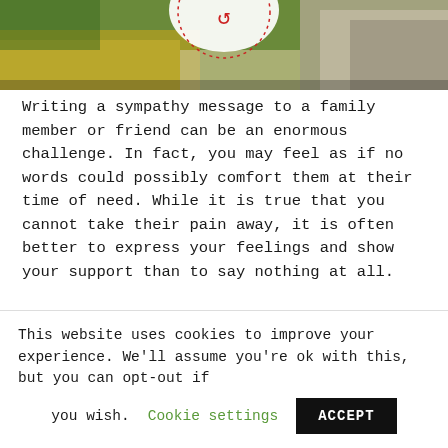[Figure (photo): Partial view of a circular logo with red horse/arrow icon on white background, set against a background of yellow flowers and a stone wall path]
Writing a sympathy message to a family member or friend can be an enormous challenge. In fact, you may feel as if no words could possibly comfort them at their time of need. While it is true that you cannot take their pain away, it is often better to express your feelings and show your support than to say nothing at all.
...
This website uses cookies to improve your experience. We'll assume you're ok with this, but you can opt-out if you wish. Cookie settings ACCEPT